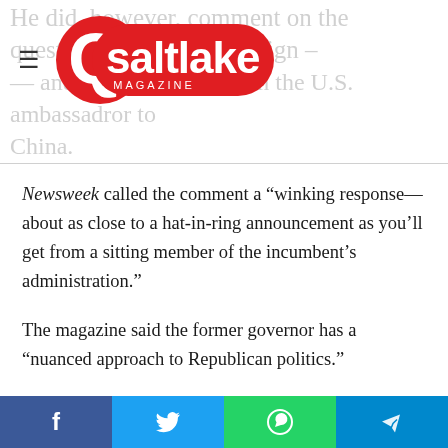He did, however, comment on the question of a 2012 campaign — and in particular his run the U.S. ambassador to China. [Q Salt Lake Magazine logo]
Newsweek called the comment a “winking response—about as close to a hat-in-ring announcement as you’ll get from a sitting member of the incumbent’s administration.”
The magazine said the former governor has a “nuanced approach to Republican politics.”
“Warning that the party was losing young voters, [Huntsman] argued that Republicans would need to tack to the middle on three hot-button issues if they were to maintain national relevance: immigration, gay rights and the environment.”
Share bar: Facebook, Twitter, WhatsApp, Telegram